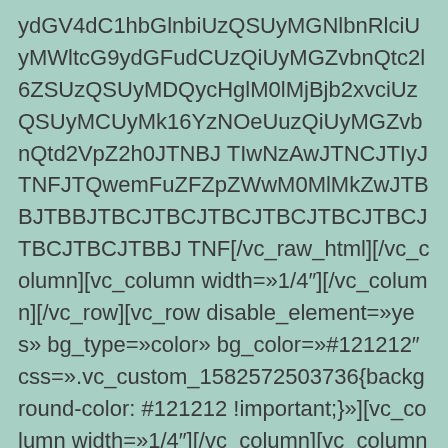ydGV4dC1hbGlnbiUzQSUyMGNlbnRlciUyMWltcG9ydGFudCUzQiUyMGZvbnQtc2l6ZSUzQSUyMDQycHglM0lMjBjb2xvciUzQSUyMCUyMk16YzNOeUuzQiUyMGZvbnQtd2VpZ2h0JTNBJ TIwNzAwJTNCJTIyJTNFJTQwemFuZFZpZWwM0MlMkZwJTBBJTBBJTBCJTBCJTBCJTBCJTBCJTBCJTBCJTBCJTBBJ TNF[/vc_raw_html][/vc_column][vc_column width=»1/4″][/vc_column][/vc_row][vc_row disable_element=»yes» bg_type=»color» bg_color=»#121212″ css=».vc_custom_1582572503736{background-color: #121212 !important;}»][vc_column width=»1/4″][/vc_column][vc_column